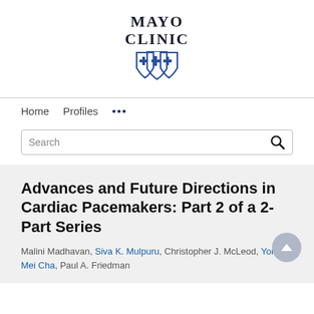[Figure (logo): Mayo Clinic logo with text 'MAYO CLINIC' and three overlapping shield emblems in dark blue]
Home   Profiles   ...
Search
Advances and Future Directions in Cardiac Pacemakers: Part 2 of a 2-Part Series
Malini Madhavan, Siva K. Mulpuru, Christopher J. McLeod, Yong Mei Cha, Paul A. Friedman